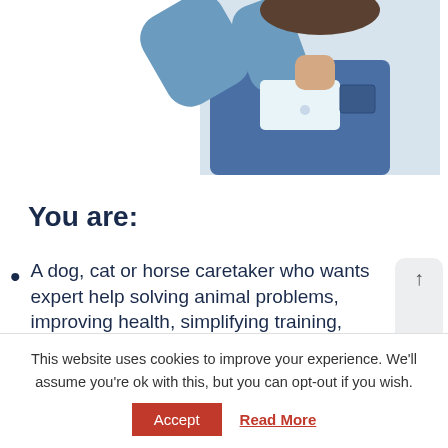[Figure (photo): Photo of a person in a denim vest and blue long sleeve shirt, raising their arm, cropped at the top portion of the page]
You are:
A dog, cat or horse caretaker who wants expert help solving animal problems, improving health, simplifying training, accelerating bonding
Facing end of life decisions, or you are having trouble coping with the loss of
This website uses cookies to improve your experience. We'll assume you're ok with this, but you can opt-out if you wish.
Accept  Read More